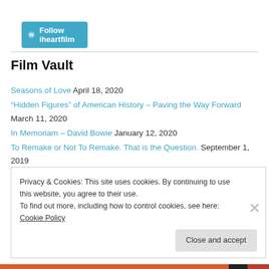[Figure (logo): Follow iheartfilm button with WordPress logo on teal/cyan background]
Film Vault
Seasons of Love April 18, 2020
“Hidden Figures” of American History – Paving the Way Forward March 11, 2020
In Memoriam – David Bowie January 12, 2020
To Remake or Not To Remake. That is the Question. September 1, 2019
Josephine Baker – Beyond “Bronze Venus” March 6, 2019
Privacy & Cookies: This site uses cookies. By continuing to use this website, you agree to their use.
To find out more, including how to control cookies, see here: Cookie Policy